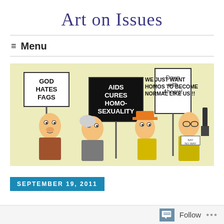Art on Issues
≡  Menu
[Figure (illustration): Political cartoon depicting protesters holding signs with anti-gay slogans: 'GOD HATES FAGS', 'AIDS CURES HOMO-SEXUALITY', 'Down with Aheers!', and one man saying 'WE JUST WANT HOMOS TO BECOME NORMAL LIKE US!!']
SEPTEMBER 19, 2011
Follow  ...